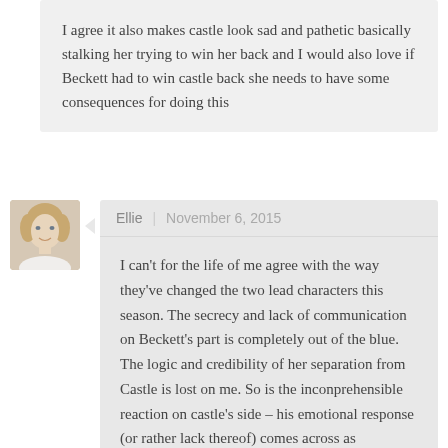I agree it also makes castle look sad and pathetic basically stalking her trying to win her back and I would also love if Beckett had to win castle back she needs to have some consequences for doing this
Ellie | November 6, 2015
[Figure (photo): Avatar photo of a woman with short blonde/light hair, wearing a light-colored top, cropped close-up portrait.]
I can't for the life of me agree with the way they've changed the two lead characters this season. The secrecy and lack of communication on Beckett's part is completely out of the blue. The logic and credibility of her separation from Castle is lost on me. So is the inconprehensible reaction on castle's side – his emotional response (or rather lack thereof) comes across as incomprehensible. Where I'd expect human eesponses like anger, hurt and standing up for